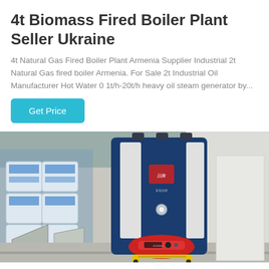4t Biomass Fired Boiler Plant Seller Ukraine
4t Natural Gas Fired Boiler Plant Armenia Supplier Industrial 2t Natural Gas fired boiler Armenia. For Sale 2t Industrial Oil Manufacturer Hot Water 0 1t/h-20t/h heavy oil steam generator by...
Get Price
[Figure (photo): Industrial biomass/gas fired boiler unit in a warehouse setting. The boiler is a large dark navy blue vertical cylindrical tank with silver/white vertical panels, a red burner unit at the bottom mounted on a yellow pallet jack, and is surrounded by stacked blue-tagged white bags and industrial equipment.]